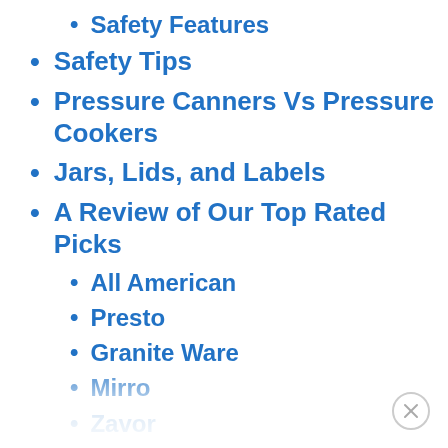Safety Features
Safety Tips
Pressure Canners Vs Pressure Cookers
Jars, Lids, and Labels
A Review of Our Top Rated Picks
All American
Presto
Granite Ware
Mirro
Zavor
Selecting and Preparing Food
Other Gear That You May